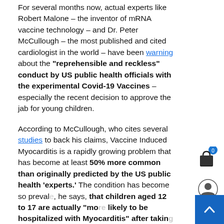For several months now, actual experts like Robert Malone – the inventor of mRNA vaccine technology – and Dr. Peter McCullough – the most published and cited cardiologist in the world – have been warning about the "reprehensible and reckless" conduct by US public health officials with the experimental Covid-19 Vaccines – especially the recent decision to approve the jab for young children.
According to McCullough, who cites several studies to back his claims, Vaccine Induced Myocarditis is a rapidly growing problem that has become at least 50% more common than originally predicted by the US public health 'experts.' The condition has become so prevalent, he says, that children aged 12 to 17 are actually "more likely to be hospitalized with Myocarditis" after taking the vaccine than the virus itself.